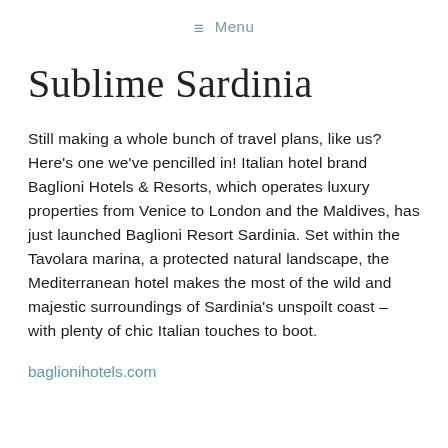≡ Menu
Sublime Sardinia
Still making a whole bunch of travel plans, like us? Here's one we've pencilled in! Italian hotel brand Baglioni Hotels & Resorts, which operates luxury properties from Venice to London and the Maldives, has just launched Baglioni Resort Sardinia. Set within the Tavolara marina, a protected natural landscape, the Mediterranean hotel makes the most of the wild and majestic surroundings of Sardinia's unspoilt coast – with plenty of chic Italian touches to boot.
baglionihotels.com